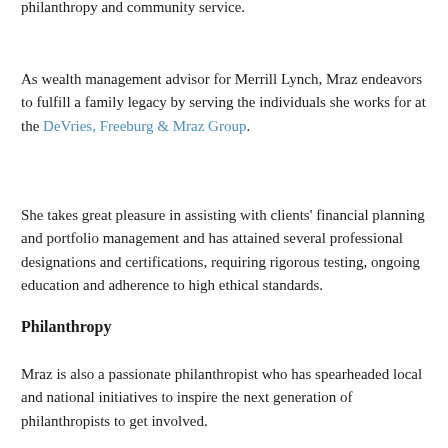philanthropy and community service.
As wealth management advisor for Merrill Lynch, Mraz endeavors to fulfill a family legacy by serving the individuals she works for at the DeVries, Freeburg & Mraz Group.
She takes great pleasure in assisting with clients' financial planning and portfolio management and has attained several professional designations and certifications, requiring rigorous testing, ongoing education and adherence to high ethical standards.
Philanthropy
Mraz is also a passionate philanthropist who has spearheaded local and national initiatives to inspire the next generation of philanthropists to get involved.